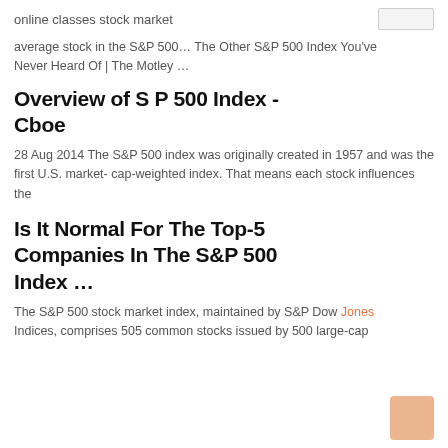online classes stock market
average stock in the S&P 500… The Other S&P 500 Index You've Never Heard Of | The Motley …
Overview of S P 500 Index - Cboe
28 Aug 2014 The S&P 500 index was originally created in 1957 and was the first U.S. market- cap-weighted index. That means each stock influences the
Is It Normal For The Top-5 Companies In The S&P 500 Index …
The S&P 500 stock market index, maintained by S&P Dow Jones Indices, comprises 505 common stocks issued by 500 large-cap